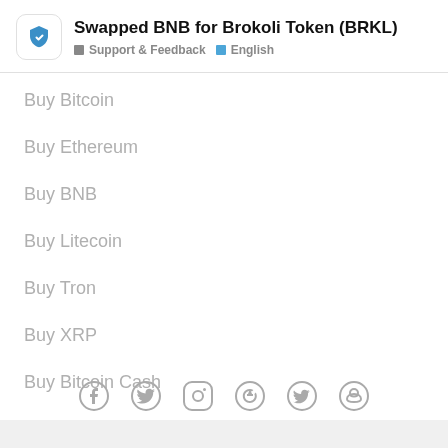Swapped BNB for Brokoli Token (BRKL) | Support & Feedback | English
Buy Bitcoin
Buy Ethereum
Buy BNB
Buy Litecoin
Buy Tron
Buy XRP
Buy Bitcoin Cash
[Figure (infographic): Row of social media icons: Facebook, Twitter, Instagram, GitHub, Telegram, Reddit]